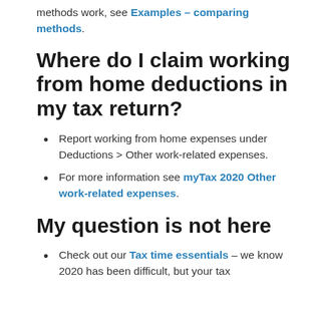methods work, see Examples – comparing methods.
Where do I claim working from home deductions in my tax return?
Report working from home expenses under Deductions > Other work-related expenses.
For more information see myTax 2020 Other work-related expenses.
My question is not here
Check out our Tax time essentials – we know 2020 has been difficult, but your tax